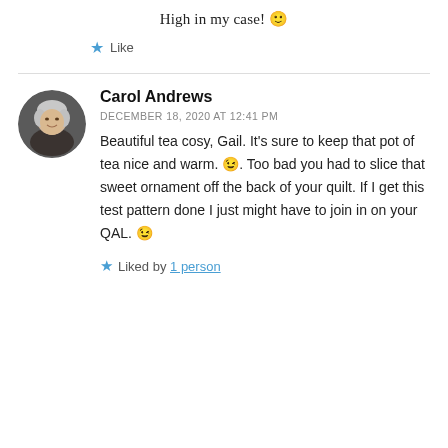High in my case! 🙂
★ Like
Carol Andrews
DECEMBER 18, 2020 AT 12:41 PM
Beautiful tea cosy, Gail. It's sure to keep that pot of tea nice and warm. 😉. Too bad you had to slice that sweet ornament off the back of your quilt. If I get this test pattern done I just might have to join in on your QAL. 😉
★ Liked by 1 person